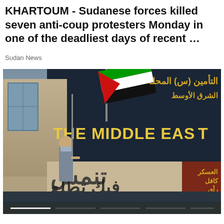KHARTOUM - Sudanese forces killed seven anti-coup protesters Monday in one of the deadliest days of recent …
Sudan News
[Figure (photo): A man wearing a face mask holds a Sudanese flag in front of a large billboard/wall. The billboard shows Arabic text and 'THE MIDDLE EAST' in English yellow letters on a dark background. Lower portion shows graffiti in Arabic on a light-colored wall.]